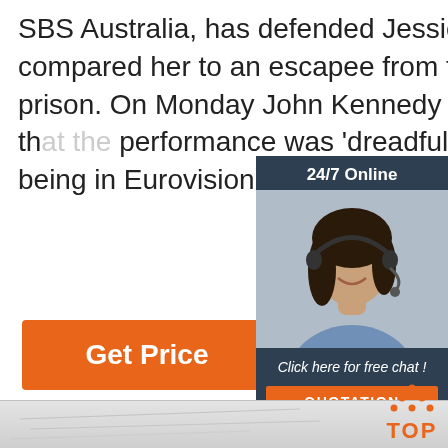SBS Australia, has defended Jessica Mauboy after a historian compared her to an escapee from the fictional Wentworth prison. On Monday John Kennedy O'Connor told RN Breakfast th... performance was 'dreadful'. 'I think the j... Australia being in Eurovision is now ove...
[Figure (infographic): Chat widget showing '24/7 Online' header, a woman with headset, 'Click here for free chat!' text, and orange QUOTATION button]
Get Price
[Figure (illustration): Orange 'TOP' button with upward arrow dots icon in bottom right corner]